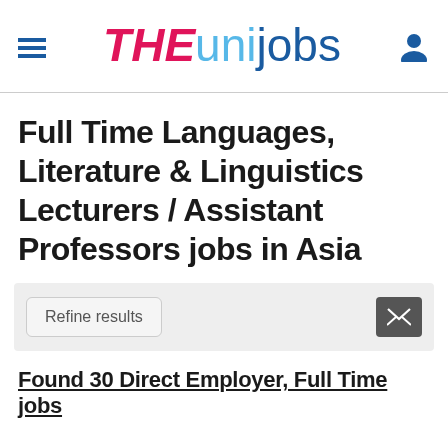THE unijobs
Full Time Languages, Literature & Linguistics Lecturers / Assistant Professors jobs in Asia
Refine results
Found 30 Direct Employer, Full Time jobs